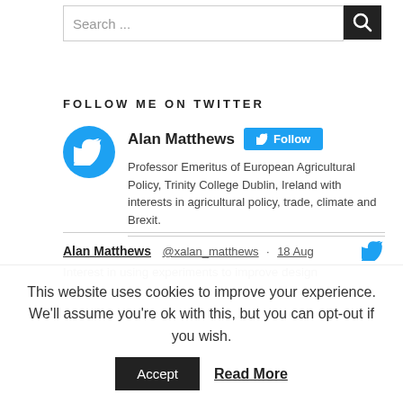[Figure (screenshot): Search bar with text 'Search ...' and a dark search button with magnifying glass icon]
FOLLOW ME ON TWITTER
[Figure (screenshot): Twitter follow widget showing Alan Matthews profile with avatar, Follow button, and bio: Professor Emeritus of European Agricultural Policy, Trinity College Dublin, Ireland with interests in agricultural policy, trade, climate and Brexit.]
Alan Matthews @xalan_matthews · 18 Aug Interest in using experiments to improve design
This website uses cookies to improve your experience. We'll assume you're ok with this, but you can opt-out if you wish.
Accept  Read More